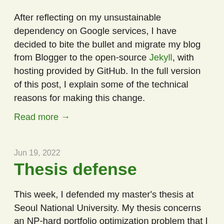After reflecting on my unsustainable dependency on Google services, I have decided to bite the bullet and migrate my blog from Blogger to the open-source Jekyll, with hosting provided by GitHub. In the full version of this post, I explain some of the technical reasons for making this change.
Read more →
Jun 19, 2022
Thesis defense
This week, I defended my master's thesis at Seoul National University. My thesis concerns an NP-hard portfolio optimization problem that I call the college application problem. My slides, presentation script, and